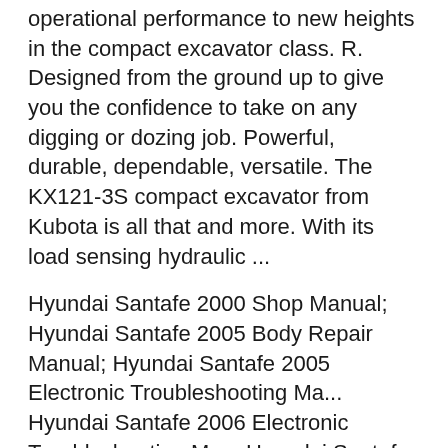operational performance to new heights in the compact excavator class. R. Designed from the ground up to give you the confidence to take on any digging or dozing job. Powerful, durable, dependable, versatile. The KX121-3S compact excavator from Kubota is all that and more. With its load sensing hydraulic ...
Hyundai Santafe 2000 Shop Manual; Hyundai Santafe 2005 Body Repair Manual; Hyundai Santafe 2005 Electronic Troubleshooting Ma... Hyundai Santafe 2006 Electronic Troubleshooting Ma... Hyundai Santafe 2006 Shop Manual; Hyundai Santafe 2010 Shop Manual; Hyundai Santafe Electronic Troubleshooting Manual; Chevrolet Captiva